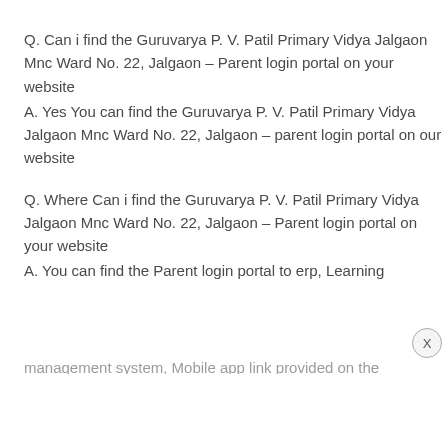Q. Can i find the Guruvarya P. V. Patil Primary Vidya Jalgaon Mnc Ward No. 22, Jalgaon – Parent login portal on your website
A. Yes You can find the Guruvarya P. V. Patil Primary Vidya Jalgaon Mnc Ward No. 22, Jalgaon – parent login portal on our website
Q. Where Can i find the Guruvarya P. V. Patil Primary Vidya Jalgaon Mnc Ward No. 22, Jalgaon – Parent login portal on your website
A. You can find the Parent login portal to erp, Learning management system, Mobile app link provided on the